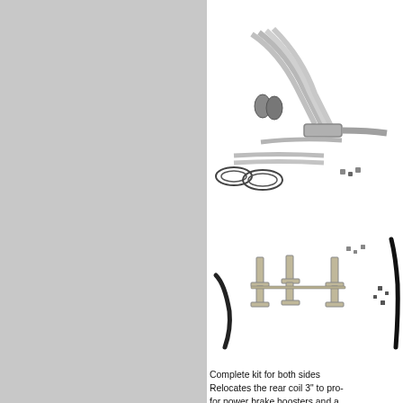[Figure (photo): Exhaust headers kit with tubes, gaskets, and hardware components laid out on white background]
[Figure (photo): Spark plug wire brackets and retainer hardware kit on white background]
Complete kit for both sides
Relocates the rear coil 3" to pro- for power brake boosters and a. Each kit includes a stainless bra- hardware, and a longer spark p-